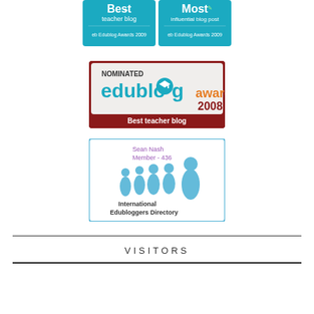[Figure (logo): Edublog Awards 2009 - Best teacher blog badge (teal/blue color)]
[Figure (logo): Edublog Awards 2009 - Most influential blog post badge (teal/blue color)]
[Figure (logo): Nominated Edublog Awards 2008 - Best teacher blog badge with graduation cap logo]
[Figure (logo): International Edubloggers Directory badge showing Sean Nash Member - 436 with silhouettes of people]
VISITORS